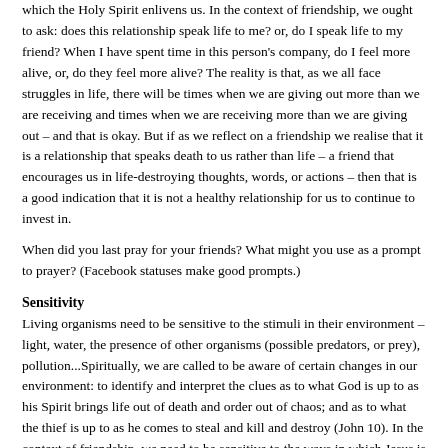which the Holy Spirit enlivens us. In the context of friendship, we ought to ask: does this relationship speak life to me? or, do I speak life to my friend? When I have spent time in this person's company, do I feel more alive, or, do they feel more alive? The reality is that, as we all face struggles in life, there will be times when we are giving out more than we are receiving and times when we are receiving more than we are giving out – and that is okay. But if as we reflect on a friendship we realise that it is a relationship that speaks death to us rather than life – a friend that encourages us in life-destroying thoughts, words, or actions – then that is a good indication that it is not a healthy relationship for us to continue to invest in.
When did you last pray for your friends? What might you use as a prompt to prayer? (Facebook statuses make good prompts.)
Sensitivity
Living organisms need to be sensitive to the stimuli in their environment – light, water, the presence of other organisms (possible predators, or prey), pollution...Spiritually, we are called to be aware of certain changes in our environment: to identify and interpret the clues as to what God is up to as his Spirit brings life out of death and order out of chaos; and as to what the thief is up to as he comes to steal and kill and destroy (John 10). In the context of friendship, we need to be sensitive to the ways in which Jesus is bringing life in its fullness...